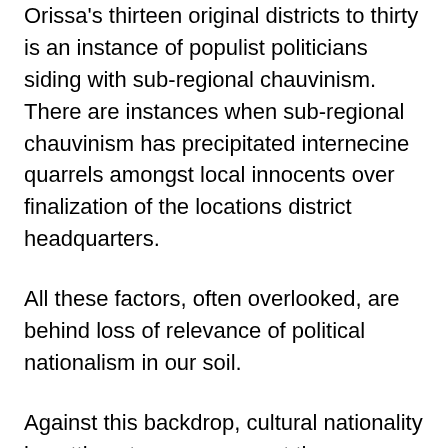Orissa's thirteen original districts to thirty is an instance of populist politicians siding with sub-regional chauvinism. There are instances when sub-regional chauvinism has precipitated internecine quarrels amongst local innocents over finalization of the locations district headquarters.
All these factors, often overlooked, are behind loss of relevance of political nationalism in our soil.
Against this backdrop, cultural nationality is getting stronger amongst the economically exploited people. Cultural nationalism is in